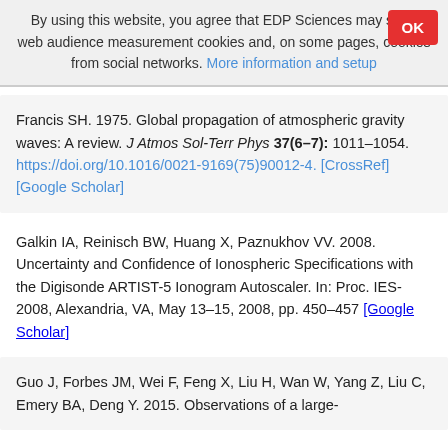By using this website, you agree that EDP Sciences may store web audience measurement cookies and, on some pages, cookies from social networks. More information and setup
Francis SH. 1975. Global propagation of atmospheric gravity waves: A review. J Atmos Sol-Terr Phys 37(6–7): 1011–1054. https://doi.org/10.1016/0021-9169(75)90012-4. [CrossRef] [Google Scholar]
Galkin IA, Reinisch BW, Huang X, Paznukhov VV. 2008. Uncertainty and Confidence of Ionospheric Specifications with the Digisonde ARTIST-5 Ionogram Autoscaler. In: Proc. IES-2008, Alexandria, VA, May 13–15, 2008, pp. 450–457 [Google Scholar]
Guo J, Forbes JM, Wei F, Feng X, Liu H, Wan W, Yang Z, Liu C, Emery BA, Deng Y. 2015. Observations of a large-